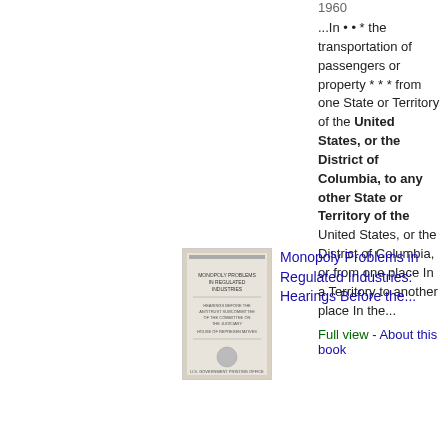1960
...In • • * the transportation of passengers or property * * * from one State or Territory of the United States, or the District of Columbia, to any other State or Territory of the United States, or the District of Columbia, or from one place In a Territory to another place In the...
Full view - About this book
[Figure (photo): Book cover thumbnail for Monopoly Problems in Regulated Industries: Hearings Before the...]
Monopoly Problems in Regulated Industries: Hearings Before the...